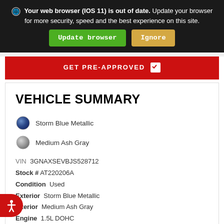Your web browser (IOS 11) is out of date. Update your browser for more security, speed and the best experience on this site. [Update browser] [Ignore]
GET PRE-APPROVED ☑
VEHICLE SUMMARY
Storm Blue Metallic
Medium Ash Gray
VIN 3GNAXSEVBJS528712
Stock # AT220206A
Condition Used
Exterior Storm Blue Metallic
Interior Medium Ash Gray
Engine 1.5L DOHC
Drivetrain AWD